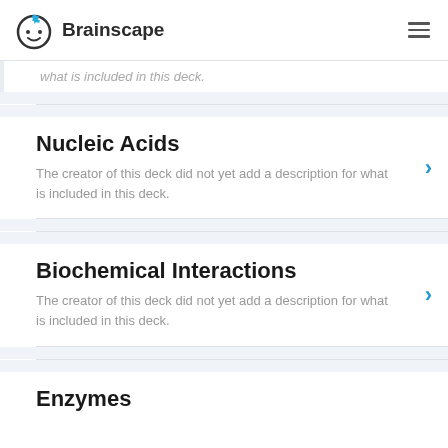Brainscape
what is included in this deck.
Nucleic Acids
The creator of this deck did not yet add a description for what is included in this deck.
Biochemical Interactions
The creator of this deck did not yet add a description for what is included in this deck.
Enzymes